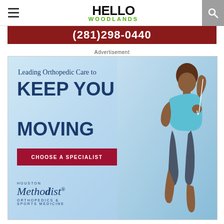HELLO WOODLANDS
[Figure (screenshot): Partial view of a red advertisement banner showing phone number (281)298-0440]
Advertisement
[Figure (illustration): Houston Methodist Orthopedics & Sports Medicine advertisement. Shows a woman jogging with earphones against a light blue background. Text reads: Leading Orthopedic Care to KEEP YOU MOVING. Red button: CHOOSE A SPECIALIST. Houston Methodist Orthopedics & Sports Medicine logo at bottom left.]